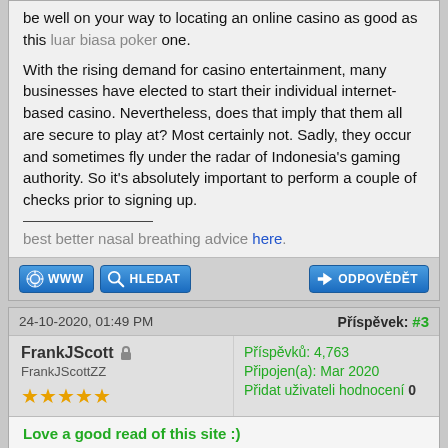be well on your way to locating an online casino as good as this luar biasa poker one.
With the rising demand for casino entertainment, many businesses have elected to start their individual internet-based casino. Nevertheless, does that imply that them all are secure to play at? Most certainly not. Sadly, they occur and sometimes fly under the radar of Indonesia's gaming authority. So it's absolutely important to perform a couple of checks prior to signing up.
best better nasal breathing advice here.
24-10-2020, 01:49 PM
Příspěvek: #3
FrankJScott
FrankJScottZZ
Příspěvků: 4,763
Připojen(a): Mar 2020
Přidat uživateli hodnocení 0
Love a good read of this site :)
Pressfarm is just a media repository that helps entrepreneurs discover journalists to create about their startups. Construct a listing of reporters and get listed in startup sites in minutes. Applying our media outreach program, you can now look for editors from various niches, guides and categories to find a very good fit.